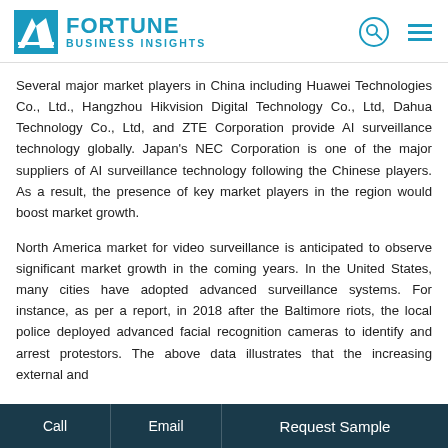FORTUNE BUSINESS INSIGHTS
Several major market players in China including Huawei Technologies Co., Ltd., Hangzhou Hikvision Digital Technology Co., Ltd, Dahua Technology Co., Ltd, and ZTE Corporation provide AI surveillance technology globally. Japan's NEC Corporation is one of the major suppliers of AI surveillance technology following the Chinese players. As a result, the presence of key market players in the region would boost market growth.
North America market for video surveillance is anticipated to observe significant market growth in the coming years. In the United States, many cities have adopted advanced surveillance systems. For instance, as per a report, in 2018 after the Baltimore riots, the local police deployed advanced facial recognition cameras to identify and arrest protestors. The above data illustrates that the increasing external and
Call  Email  Request Sample